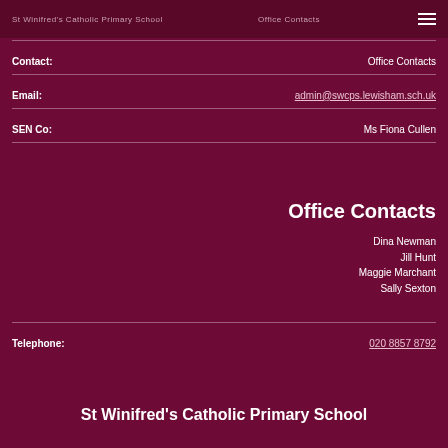St Winifred's Catholic Primary School — Office Contacts
Contact:   Office Contacts
Email:   admin@swcps.lewisham.sch.uk
SEN Co:   Ms Fiona Cullen
Office Contacts
Dina Newman
Jill Hunt
Maggie Marchant
Sally Sexton
Telephone:   020 8857 8792
St Winifred's Catholic Primary School